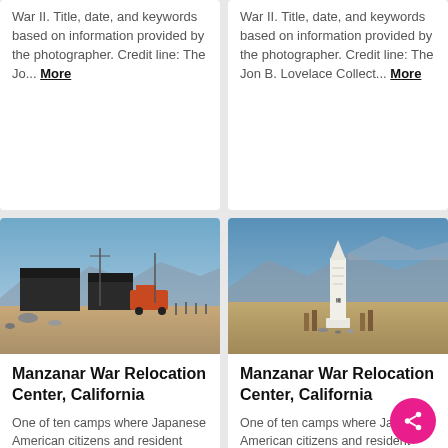War II. Title, date, and keywords based on information provided by the photographer. Credit line: The Jo... More
War II. Title, date, and keywords based on information provided by the photographer. Credit line: The Jon B. Lovelace Collect... More
[Figure (photo): Manzanar War Relocation Center buildings with dark wooden barracks and an orange truck in a desert landscape with mountains in background]
[Figure (photo): Manzanar War Relocation Center white obelisk monument in a desert landscape with mountains in background]
Manzanar War Relocation Center, California
One of ten camps where Japanese American citizens and resident Japanese aliens were interned during World War II. Title, date, and
Manzanar War Relocation Center, California
One of ten camps where Japanese American citizens and resident Japanese aliens were interned during World War II. Title, date, and